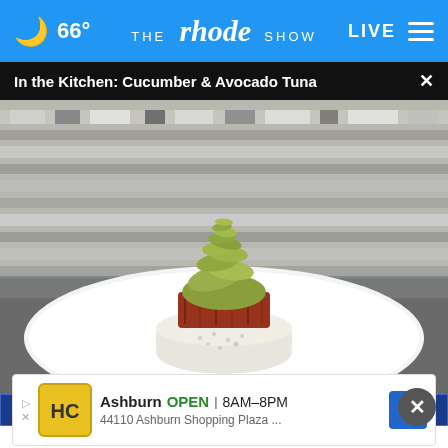66° THE rhode SHOW LIVE
In the Kitchen: Cucumber & Avocado Tuna
[Figure (photo): Plated dish of cucumber and avocado tuna on a white plate — seared tuna on rice with cucumber salad piled on top — displayed on a countertop with mosaic tile backsplash in background, shown on The Rhode Show TV broadcast.]
62 | 70 | 72 | 65 | 56 | 60 | 66
Ashburn OPEN 8AM–8PM 44110 Ashburn Shopping Plaza …